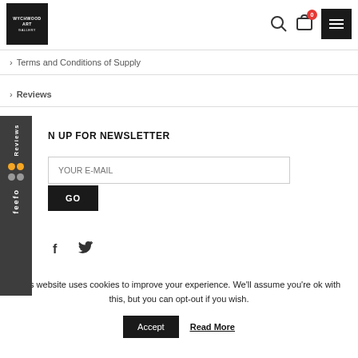[Figure (logo): Wychwood Art Gallery logo - white text on black square background]
Terms and Conditions of Supply
Reviews
SIGN UP FOR NEWSLETTER
YOUR E-MAIL
GO
[Figure (other): Feefo Reviews sidebar widget with dark background, star rating dots and rotated text]
[Figure (other): Social media icons: Facebook (f) and Twitter (bird)]
This website uses cookies to improve your experience. We'll assume you're ok with this, but you can opt-out if you wish.
Accept
Read More